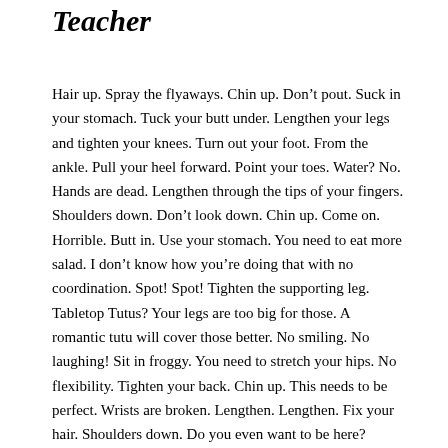Teacher
Hair up. Spray the flyaways. Chin up. Don't pout. Suck in your stomach. Tuck your butt under. Lengthen your legs and tighten your knees. Turn out your foot. From the ankle. Pull your heel forward. Point your toes. Water? No. Hands are dead. Lengthen through the tips of your fingers. Shoulders down. Don't look down. Chin up. Come on. Horrible. Butt in. Use your stomach. You need to eat more salad. I don't know how you're doing that with no coordination. Spot! Spot! Tighten the supporting leg. Tabletop Tutus? Your legs are too big for those. A romantic tutu will cover those better. No smiling. No laughing! Sit in froggy. You need to stretch your hips. No flexibility. Tighten your back. Chin up. This needs to be perfect. Wrists are broken. Lengthen. Lengthen. Fix your hair. Shoulders down. Do you even want to be here? Many other girls would love to be in this spot. Point your foot. Lengthen.